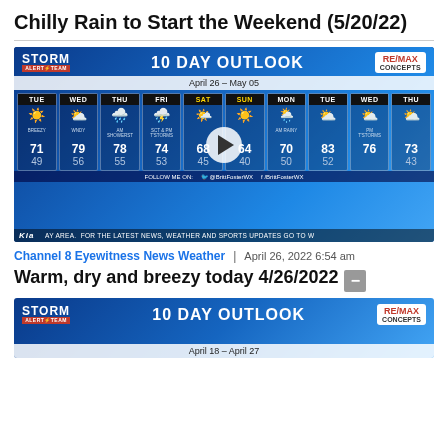Chilly Rain to Start the Weekend (5/20/22)
[Figure (screenshot): 10 Day Outlook weather forecast graphic from Storm Alert Team / Channel 8, showing April 26 - May 05. Days: TUE 71/49 BREEZY, WED 79/56 WNDY, THU 78/55 AM SHOWERST, FRI 74/53 SCT & PM T'STORMS, SAT 68/45, SUN 64/40, MON 70/50 AM RAINY, TUE 83/52, WED 76/- PM T'STORMS, THU 73/43. RE/MAX CONCEPTS sponsor logo. Kia of Lincoln banner.]
Channel 8 Eyewitness News Weather | April 26, 2022 6:54 am
Warm, dry and breezy today 4/26/2022
[Figure (screenshot): Partial view of another 10 Day Outlook weather forecast graphic from Storm Alert Team, showing April 18 - April 27. RE/MAX CONCEPTS sponsor logo visible.]